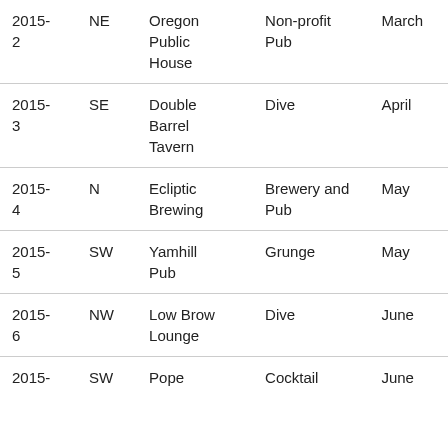| ID | Area | Venue | Type | Month |
| --- | --- | --- | --- | --- |
| 2015-2 | NE | Oregon Public House | Non-profit Pub | March |
| 2015-3 | SE | Double Barrel Tavern | Dive | April |
| 2015-4 | N | Ecliptic Brewing | Brewery and Pub | May |
| 2015-5 | SW | Yamhill Pub | Grunge | May |
| 2015-6 | NW | Low Brow Lounge | Dive | June |
| 2015- | SW | Pope | Cocktail | June |